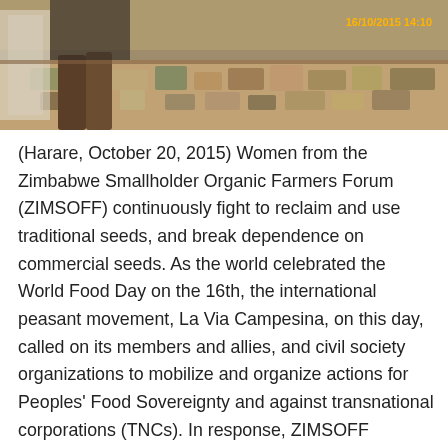[Figure (photo): A photograph of a market stall showing seeds and goods laid out on a table, with a person in boots standing behind it. Timestamp reads 16/10/2015 14:10 in orange/yellow text.]
(Harare, October 20, 2015) Women from the Zimbabwe Smallholder Organic Farmers Forum (ZIMSOFF) continuously fight to reclaim and use traditional seeds, and break dependence on commercial seeds. As the world celebrated the World Food Day on the 16th, the international peasant movement, La Via Campesina, on this day, called on its members and allies, and civil society organizations to mobilize and organize actions for Peoples' Food Sovereignty and against transnational corporations (TNCs). In response, ZIMSOFF organized its member farmers on the 16th and 17th October, to participate in a dialogue and festival respectively where the focus was on traditional food and seeds. They shared the plight faced by many small farmers, particularly women and youth under the current climate and